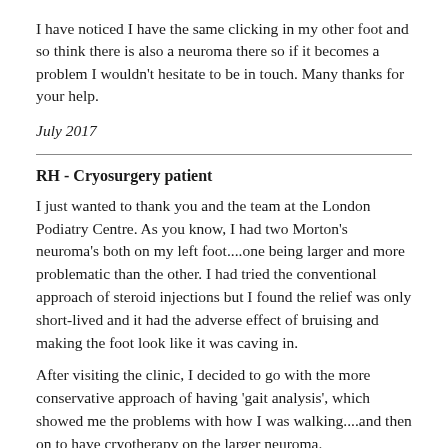I have noticed I have the same clicking in my other foot and so think there is also a neuroma there so if it becomes a problem I wouldn't hesitate to be in touch. Many thanks for your help.
July 2017
RH - Cryosurgery patient
I just wanted to thank you and the team at the London Podiatry Centre. As you know, I had two Morton's neuroma's both on my left foot....one being larger and more problematic than the other. I had tried the conventional approach of steroid injections but I found the relief was only short-lived and it had the adverse effect of bruising and making the foot look like it was caving in.
After visiting the clinic, I decided to go with the more conservative approach of having 'gait analysis', which showed me the problems with how I was walking....and then on to have cryotherapy on the larger neuroma.
It has not all been straightforward, as I have had problems with